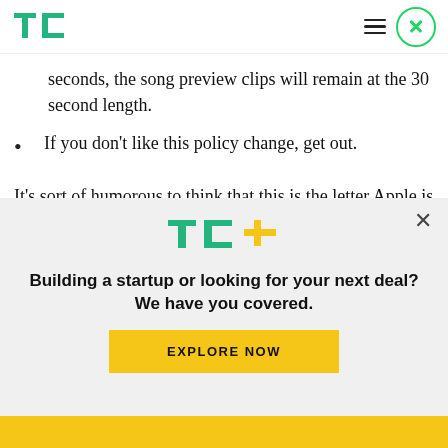TechCrunch logo with hamburger menu and close button
seconds, the song preview clips will remain at the 30 second length.
If you don't like this policy change, get out.
It's sort of humorous to think that this is the letter Apple is sending around to label which begins with “we are pleased to let you know”. Most of the labels probably aren’t too pleased about that. But you
[Figure (logo): TC+ logo (TechCrunch Plus) in green with yellow plus sign]
Building a startup or looking for your next deal? We have you covered.
EXPLORE NOW